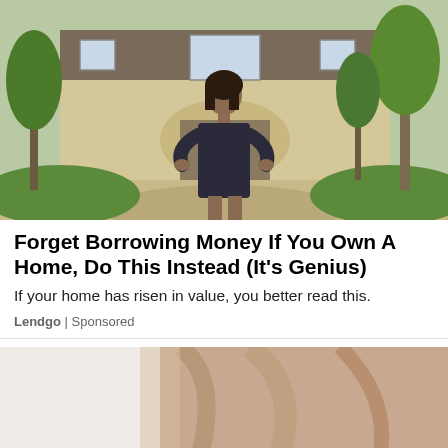[Figure (photo): Woman in black dress standing in front of a large luxury home with a stone driveway and lush landscaping]
Forget Borrowing Money If You Own A Home, Do This Instead (It's Genius)
If your home has risen in value, you better read this.
Lendgo | Sponsored
[Figure (photo): Partial view of a person, cropped lifestyle image (bottom portion of page)]